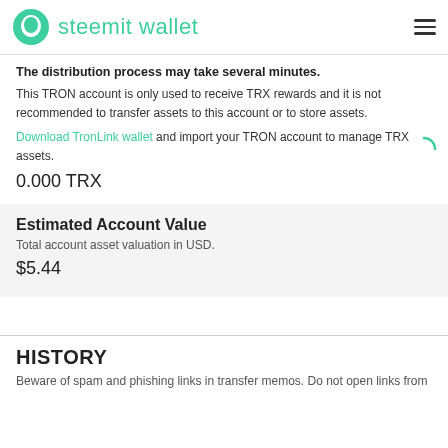steemit wallet
The distribution process may take several minutes. This TRON account is only used to receive TRX rewards and it is not recommended to transfer assets to this account or to store assets. Download TronLink wallet and import your TRON account to manage TRX assets.
0.000 TRX
Estimated Account Value
Total account asset valuation in USD.
$5.44
HISTORY
Beware of spam and phishing links in transfer memos. Do not open links from